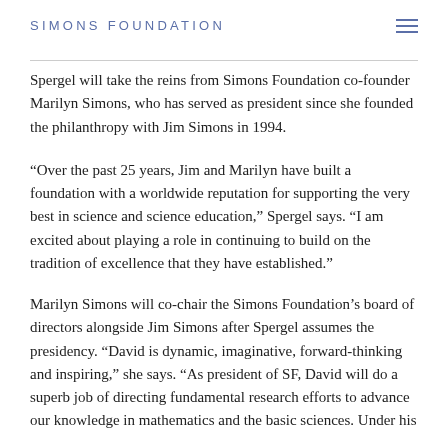SIMONS FOUNDATION
Spergel will take the reins from Simons Foundation co-founder Marilyn Simons, who has served as president since she founded the philanthropy with Jim Simons in 1994.
“Over the past 25 years, Jim and Marilyn have built a foundation with a worldwide reputation for supporting the very best in science and science education,” Spergel says. “I am excited about playing a role in continuing to build on the tradition of excellence that they have established.”
Marilyn Simons will co-chair the Simons Foundation’s board of directors alongside Jim Simons after Spergel assumes the presidency. “David is dynamic, imaginative, forward-thinking and inspiring,” she says. “As president of SF, David will do a superb job of directing fundamental research efforts to advance our knowledge in mathematics and the basic sciences. Under his